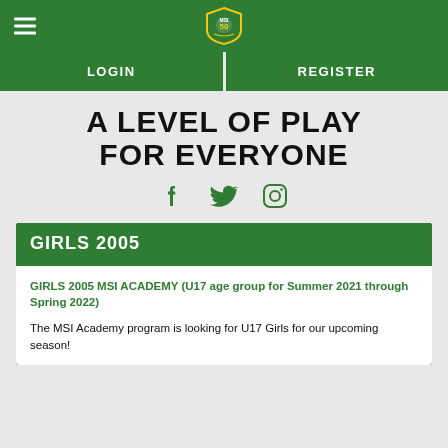MSI 50 logo and hamburger menu
LOGIN | REGISTER
A LEVEL OF PLAY FOR EVERYONE
[Figure (illustration): Social media icons: Facebook, Twitter, Instagram in green]
GIRLS 2005
GIRLS 2005 MSI ACADEMY (U17 age group for Summer 2021 through Spring 2022)
The MSI Academy program is looking for U17 Girls for our upcoming season!